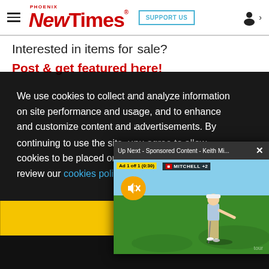Phoenix New Times | SUPPORT US
Interested in items for sale?
Post & get featured here!
We use cookies to collect and analyze information on site performance and usage, and to enhance and customize content and advertisements. By continuing to use the site, you agree to allow cookies to be placed on your device. Please review our cookies policy a...
[Figure (screenshot): Video player popup showing: 'Up Next - Sponsored Content - Keith Mi...' with an X close button. Below is a video frame of a golfer on a green with an Ad 1 of 1 (0:30) badge, score bar showing MITCHELL +2, and a muted (orange) button.]
Got it!